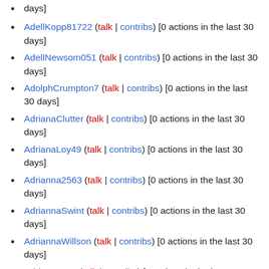days]
AdellKopp81722 (talk | contribs) [0 actions in the last 30 days]
AdellNewsom051 (talk | contribs) [0 actions in the last 30 days]
AdolphCrumpton7 (talk | contribs) [0 actions in the last 30 days]
AdrianaClutter (talk | contribs) [0 actions in the last 30 days]
AdrianaLoy49 (talk | contribs) [0 actions in the last 30 days]
Adrianna2563 (talk | contribs) [0 actions in the last 30 days]
AdriannaSwint (talk | contribs) [0 actions in the last 30 days]
AdriannaWillson (talk | contribs) [0 actions in the last 30 days]
AdrianneLoe (talk | contribs) [0 actions in the last 30 days]
Adriene0797 (talk | contribs) [0 actions in the last 30